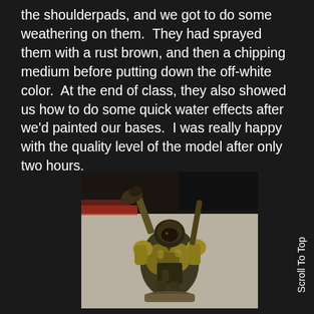the shoulderpads, and we got to do some weathering on them.  They had sprayed them with a rust brown, and then a chipping medium before putting down the off-white color.  At the end of class, they also showed us how to do some quick water effects after we'd painted our bases.  I was really happy with the quality level of the model after only two hours.
[Figure (photo): A painted miniature wargaming figure (appears to be an Ork or similar fantasy/sci-fi model) shown from behind, with yellow and brown armor, various weapons and equipment, on a blurred background.]
Scroll To Top